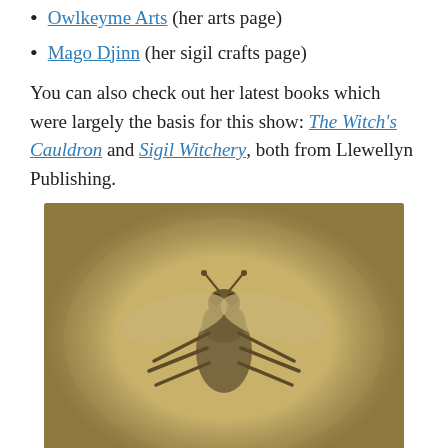Owlkeyme Arts (her arts page)
Mago Djinn (her sigil crafts page)
You can also check out her latest books which were largely the basis for this show: The Witch's Cauldron and Sigil Witchery, both from Llewellyn Publishing.
[Figure (photo): A ceramic or clay sculpture of a fly, viewed from above at a slight angle, on a warm tan/yellow background. The fly has detailed wings, body, and legs.]
Fly Ashtray, sent in by listener Renee
Big thanks to listener Renee for suggesting the